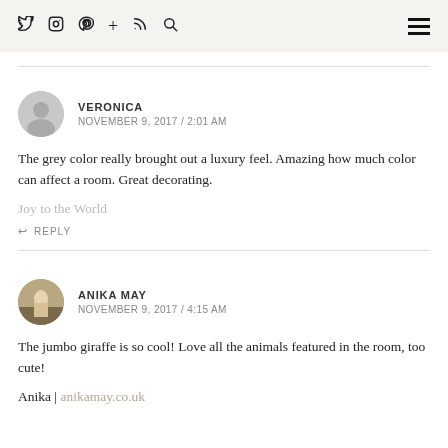Social icons: Twitter, Instagram, Pinterest, Plus, RSS, Search | Hamburger menu
VERONICA
NOVEMBER 9, 2017 / 2:01 AM
The grey color really brought out a luxury feel. Amazing how much color can affect a room. Great decorating.
Joy to the World
REPLY
ANIKA MAY
NOVEMBER 9, 2017 / 4:15 AM
The jumbo giraffe is so cool! Love all the animals featured in the room, too cute!
Anika | anikamay.co.uk